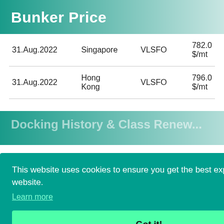Bunker Price
| Date | Location | Grade | Price |
| --- | --- | --- | --- |
| 31.Aug.2022 | Singapore | VLSFO | 782.0 $/mt |
| 31.Aug.2022 | Hong Kong | VLSFO | 796.0 $/mt |
Docking History & Class Renew...
This website uses cookies to ensure you get the best experience on our website.
Learn more
Got it!